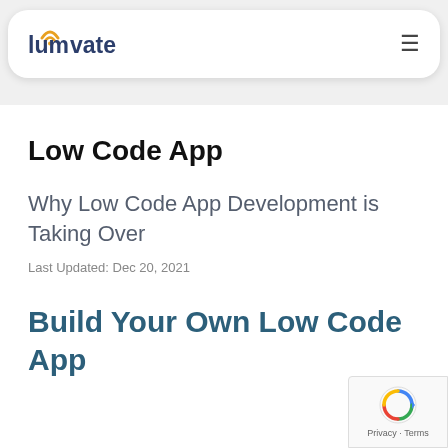lumavate
Low Code App
Why Low Code App Development is Taking Over
Last Updated: Dec 20, 2021
Build Your Own Low Code App